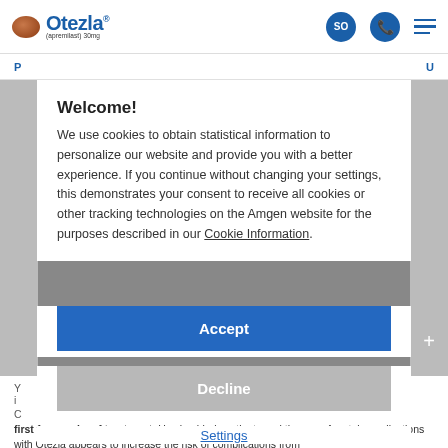Otezla (apremilast) 30mg
Welcome!
We use cookies to obtain statistical information to personalize our website and provide you with a better experience. If you continue without changing your settings, this demonstrates your consent to receive all cookies or other tracking technologies on the Amgen website for the purposes described in our Cookie Information.
Accept
Decline
Settings
first few weeks of treatment. Use in elderly patients and the use of certain medications with Otezla appears to increase the risk of complications from